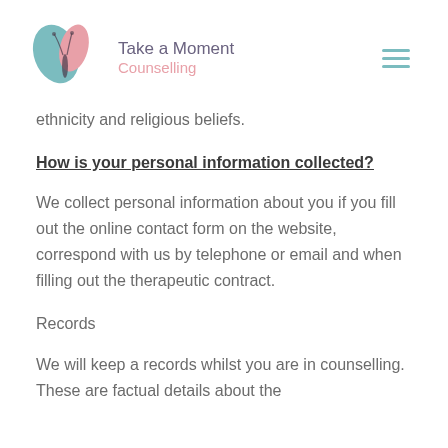[Figure (logo): Take a Moment Counselling logo with butterfly icon (teal and pink wings) and text 'Take a Moment Counselling']
ethnicity and religious beliefs.
How is your personal information collected?
We collect personal information about you if you fill out the online contact form on the website, correspond with us by telephone or email and when filling out the therapeutic contract.
Records
We will keep a records whilst you are in counselling. These are factual details about the